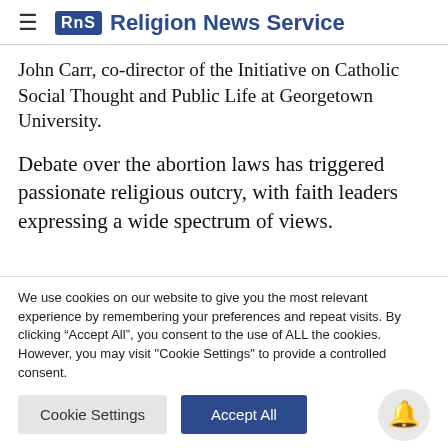RNS Religion News Service
John Carr, co-director of the Initiative on Catholic Social Thought and Public Life at Georgetown University.
Debate over the abortion laws has triggered passionate religious outcry, with faith leaders expressing a wide spectrum of views.
We use cookies on our website to give you the most relevant experience by remembering your preferences and repeat visits. By clicking “Accept All”, you consent to the use of ALL the cookies. However, you may visit "Cookie Settings" to provide a controlled consent.